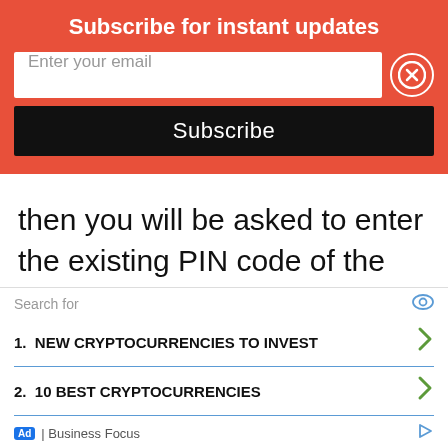Subscribe for instant updates
Enter your email
Subscribe
then you will be asked to enter the existing PIN code of the wallet which you had created previously.
If you received an error instead of the PIN screen, please check your
Search for
1.  NEW CRYPTOCURRENCIES TO INVEST
2.  10 BEST CRYPTOCURRENCIES
Ad | Business Focus